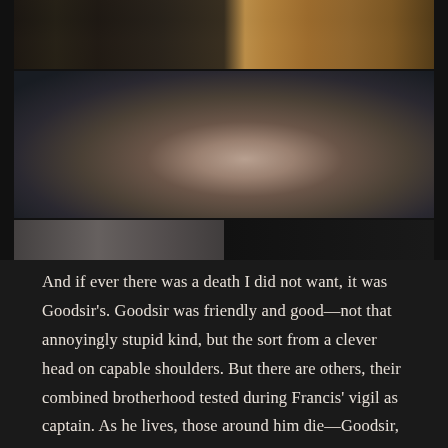[Figure (photo): Top strip: two figures in dark clothing, one appearing to comfort or hold the other]
[Figure (photo): Main image: a shirtless person with dark curly hair lying on their back, appearing deceased or unconscious, in a dark moody scene with water or dark surface]
[Figure (photo): Bottom strip: partial view of a lighter grey area on the left half and dark area on the right]
And if ever there was a death I did not want, it was Goodsir's. Goodsir was friendly and good—not that annoyingly stupid kind, but the sort from a clever head on capable shoulders. But there are others, their combined brotherhood tested during Francis' vigil as captain. As he lives, those around him die—Goodsir, James, Sir John. A bit